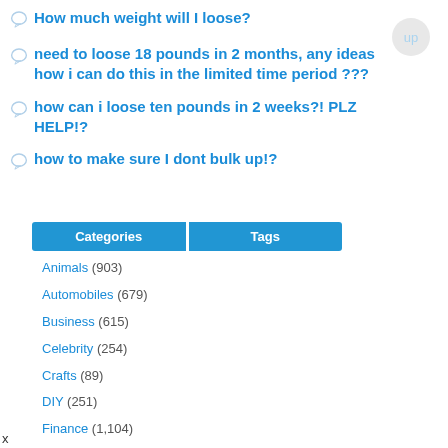How much weight will I loose?
need to loose 18 pounds in 2 months, any ideas how i can do this in the limited time period ???
how can i loose ten pounds in 2 weeks?! PLZ HELP!?
how to make sure I dont bulk up!?
| Categories | Tags |
| --- | --- |
| Animals (903) |  |
| Automobiles (679) |  |
| Business (615) |  |
| Celebrity (254) |  |
| Crafts (89) |  |
| DIY (251) |  |
| Finance (1,104) |  |
| Food & Drink (???) |  |
x